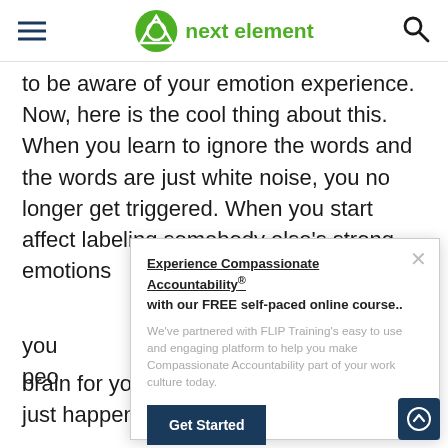next element
to be aware of your emotion experience. Now, here is the cool thing about this. When you learn to ignore the words and the words are just white noise, you no longer get triggered. When you start affect labeling somebody else's strong emotions you people they you beca emo brain for your ego to get involved and it just happens automatically.
Experience Compassionate Accountability® with our FREE self-paced online course.. We've partnered with FLIP Training's easy to use and engaging platform to help you make Compassionate Accountability part of your work culture today.
Get Started